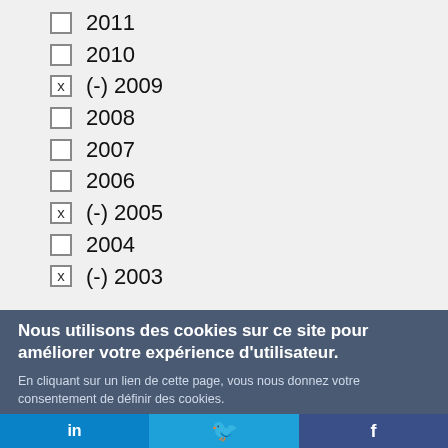2011
2010
(-) 2009
2008
2007
2006
(-) 2005
2004
(-) 2003
Nous utilisons des cookies sur ce site pour améliorer votre expérience d'utilisateur.
En cliquant sur un lien de cette page, vous nous donnez votre consentement de définir des cookies.
Oui, je suis d'accord
Plus d'infos
in
Twitter bird icon
f